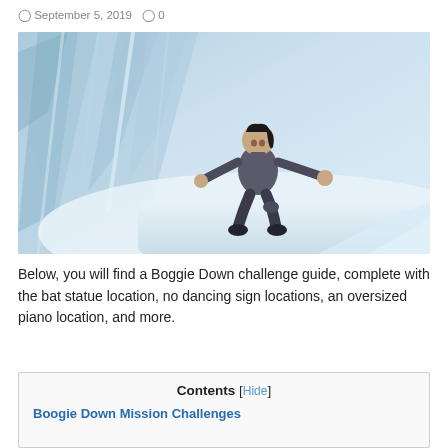September 5, 2019   0
[Figure (photo): A video game character (Fortnite-style) running/surfing down a large icy snowy slope with blue and white ice wall in background]
Below, you will find a Boggie Down challenge guide, complete with the bat statue location, no dancing sign locations, an oversized piano location, and more.
Contents [Hide]
Boogie Down Mission Challenges